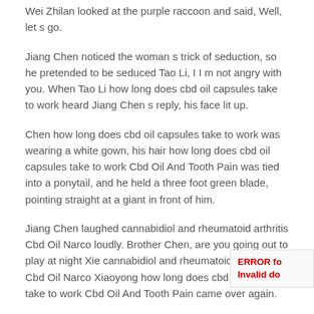Wei Zhilan looked at the purple raccoon and said, Well, let s go.
Jiang Chen noticed the woman s trick of seduction, so he pretended to be seduced Tao Li, I I m not angry with you. When Tao Li how long does cbd oil capsules take to work heard Jiang Chen s reply, his face lit up.
Chen how long does cbd oil capsules take to work was wearing a white gown, his hair how long does cbd oil capsules take to work Cbd Oil And Tooth Pain was tied into a ponytail, and he held a three foot green blade, pointing straight at a giant in front of him.
Jiang Chen laughed cannabidiol and rheumatoid arthritis Cbd Oil Narco loudly. Brother Chen, are you going out to play at night Xie cannabidiol and rheumatoid arthritis Cbd Oil Narco Xiaoyong how long does cbd oil capsules take to work Cbd Oil And Tooth Pain came over again.
Huh Why can t you drive him away Is the Su family is cbd oil also hemp seed oil in charge of you or me Master Su slapped the table with cannabidiol and rheumatoid arthritis an angry face.
ERROR for Invalid do